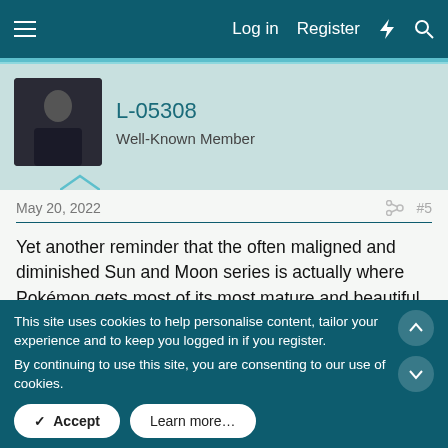Log in  Register
L-05308
Well-Known Member
May 20, 2022  #5
Yet another reminder that the often maligned and diminished Sun and Moon series is actually where Pokémon gets most of its most mature and beautiful content.
The dark undertones of how Mohn has been living contrasted with the the pure and good intentions of the Nihilego - a perfectly picked Pokémon for its significance as a malevolent
This site uses cookies to help personalise content, tailor your experience and to keep you logged in if you register.
By continuing to use this site, you are consenting to our use of cookies.